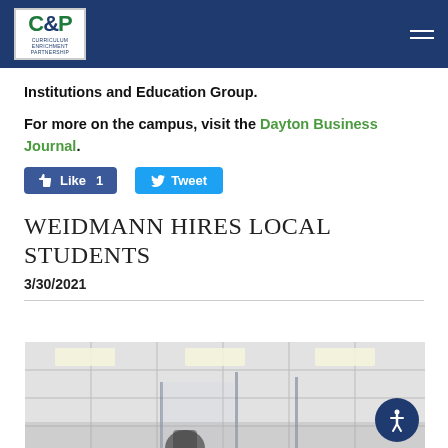CEP - Curriculum Enrichment Partnership
Institutions and Education Group.
For more on the campus, visit the Dayton Business Journal.
[Figure (screenshot): Facebook Like button showing 'Like 1' and Twitter Tweet button]
Weidmann hires local students
3/30/2021
[Figure (photo): Interior photo of an office or school building showing ceiling tiles and glass partition walls]